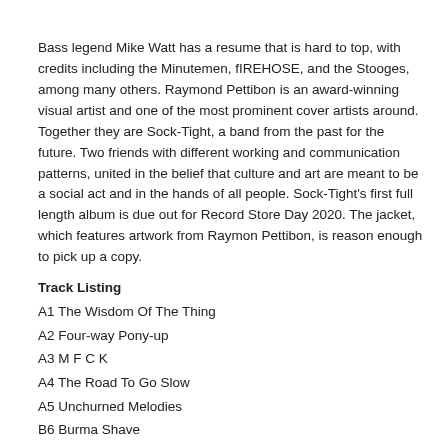Bass legend Mike Watt has a resume that is hard to top, with credits including the Minutemen, fIREHOSE, and the Stooges, among many others. Raymond Pettibon is an award-winning visual artist and one of the most prominent cover artists around. Together they are Sock-Tight, a band from the past for the future. Two friends with different working and communication patterns, united in the belief that culture and art are meant to be a social act and in the hands of all people. Sock-Tight's first full length album is due out for Record Store Day 2020. The jacket, which features artwork from Raymon Pettibon, is reason enough to pick up a copy.
Track Listing
A1 The Wisdom Of The Thing
A2 Four-way Pony-up
A3 M F C K
A4 The Road To Go Slow
A5 Unchurned Melodies
B6 Burma Shave
B7 Humbucker Fucker
B8 Got Dapples, Yay
B9 Who Tattled Told?